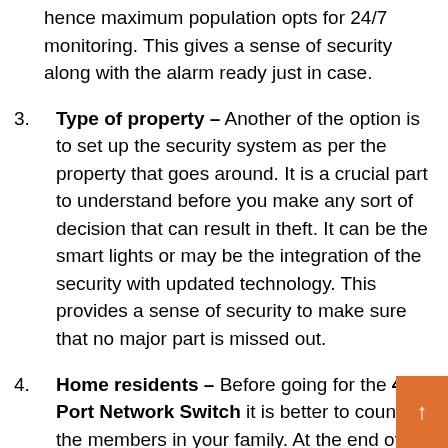hence maximum population opts for 24/7 monitoring. This gives a sense of security along with the alarm ready just in case.
Type of property – Another of the option is to set up the security system as per the property that goes around. It is a crucial part to understand before you make any sort of decision that can result in theft. It can be the smart lights or may be the integration of the security with updated technology. This provides a sense of security to make sure that no major part is missed out.
Home residents – Before going for the 4 Port Network Switch it is better to count on the members in your family. At the end of the day, this whole security system is to